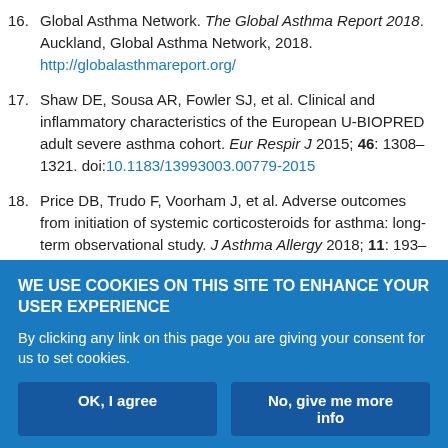16. Global Asthma Network. The Global Asthma Report 2018. Auckland, Global Asthma Network, 2018. http://globalasthmareport.org/
17. Shaw DE, Sousa AR, Fowler SJ, et al. Clinical and inflammatory characteristics of the European U-BIOPRED adult severe asthma cohort. Eur Respir J 2015; 46: 1308–1321. doi:10.1183/13993003.00779-2015
18. Price DB, Trudo F, Voorham J, et al. Adverse outcomes from initiation of systemic corticosteroids for asthma: long-term observational study. J Asthma Allergy 2018; 11: 193–204. doi:10.2147/JAA.S176026
19. Farne HA, Wilson A, Powell C, et al. Anti-IL5 therapies for asthma.
WE USE COOKIES ON THIS SITE TO ENHANCE YOUR USER EXPERIENCE
By clicking any link on this page you are giving your consent for us to set cookies.
OK, I agree | No, give me more info